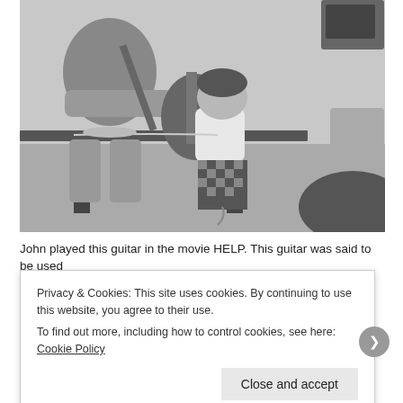[Figure (photo): Black and white photograph of a person sitting and playing an acoustic guitar, with a toddler standing facing away from the camera near a table. A television or electronic equipment is visible in the background on the right.]
John played this guitar in the movie HELP. This guitar was said to be used
Privacy & Cookies: This site uses cookies. By continuing to use this website, you agree to their use.
To find out more, including how to control cookies, see here: Cookie Policy
Close and accept